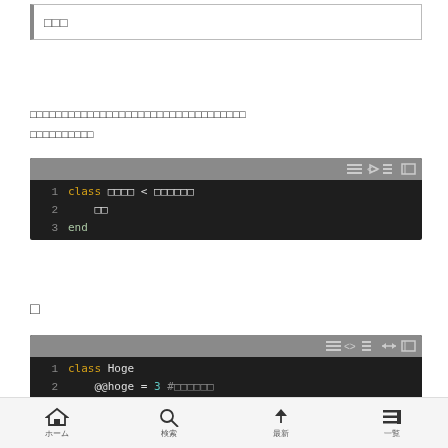□□□
□□□□□□□□□□□□□□□□□□□□□□□□□□□□□□□□□□
□□□□□□□□□□
[Figure (screenshot): Code block showing: 1 class □□□□ < □□□□□□  2   □□  3 end]
□
[Figure (screenshot): Code block showing: 1 class Hoge  2   @@hoge = 3 #□□□□□□  3   # □□□□□□□  4   def initialize  5     @hogehoge = 6 #□□□□□□□□□□□□□□□□□□□□□□□□□□□□□□□□□  6   end  7   def fuga]
ホーム　　検索　　最新　　一覧